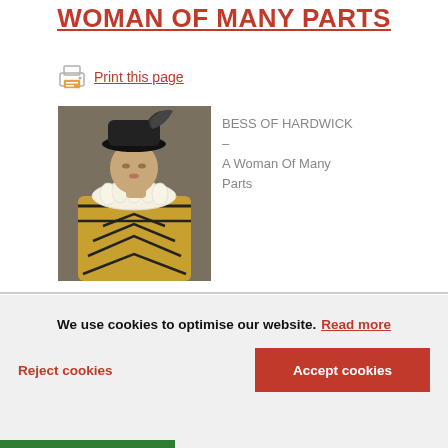WOMAN OF MANY PARTS
Print this page
[Figure (photo): Portrait of a woman dressed as Bess of Hardwick in period Elizabethan costume with ruff collar, feathered black hat, and gold/black embroidered gown]
BESS OF HARDWICK – A Woman Of Many Parts
We use cookies to optimise our website. Read more
Reject cookies
Accept cookies